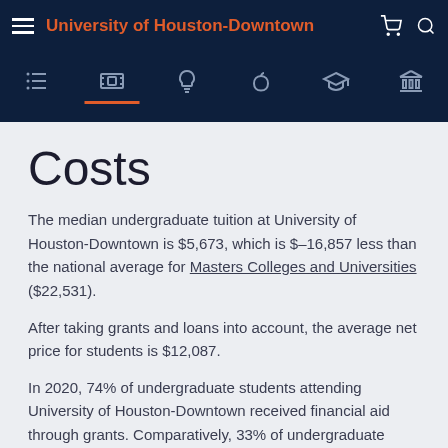University of Houston-Downtown
Costs
The median undergraduate tuition at University of Houston-Downtown is $5,673, which is $–16,857 less than the national average for Masters Colleges and Universities ($22,531).
After taking grants and loans into account, the average net price for students is $12,087.
In 2020, 74% of undergraduate students attending University of Houston-Downtown received financial aid through grants. Comparatively, 33% of undergraduate students received financial aid